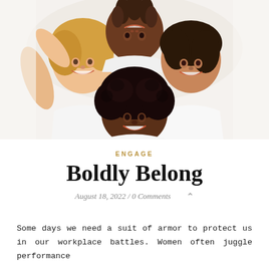[Figure (photo): Four diverse smiling women in white clothing huddled together looking down at the camera from above]
ENGAGE
Boldly Belong
August 18, 2022 / 0 Comments
Some days we need a suit of armor to protect us in our workplace battles. Women often juggle performance